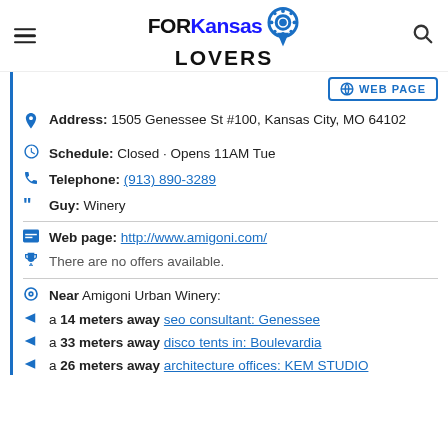FOR Kansas LOVERS
WEB PAGE
Address: 1505 Genessee St #100, Kansas City, MO 64102
Schedule: Closed · Opens 11AM Tue
Telephone: (913) 890-3289
Guy: Winery
Web page: http://www.amigoni.com/
There are no offers available.
Near Amigoni Urban Winery:
a 14 meters away seo consultant: Genessee
a 33 meters away disco tents in: Boulevardia
a 26 meters away architecture offices: KEM STUDIO